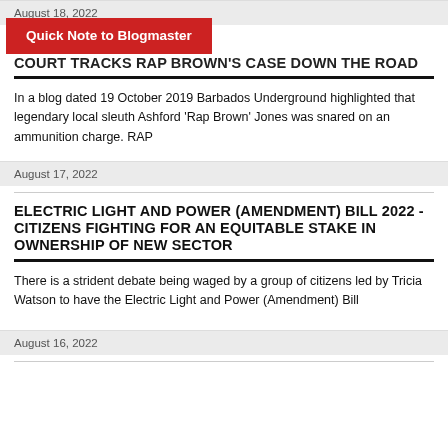August 18, 2022
[Figure (other): Red button overlay reading 'Quick Note to Blogmaster']
…COURT TRACKS RAP BROWN'S CASE DOWN THE ROAD
In a blog dated 19 October 2019 Barbados Underground highlighted that legendary local sleuth Ashford 'Rap Brown' Jones was snared on an ammunition charge. RAP
August 17, 2022
ELECTRIC LIGHT AND POWER (AMENDMENT) BILL 2022 - CITIZENS FIGHTING FOR AN EQUITABLE STAKE IN OWNERSHIP OF NEW SECTOR
There is a strident debate being waged by a group of citizens led by Tricia Watson to have the Electric Light and Power (Amendment) Bill
August 16, 2022